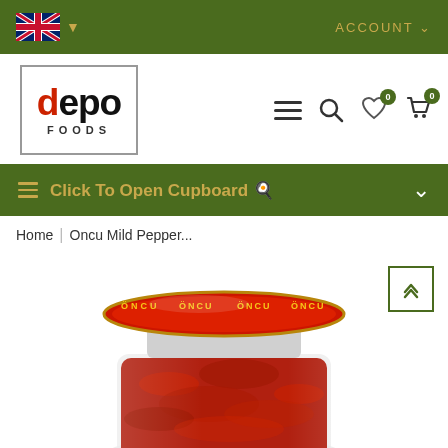ACCOUNT
[Figure (logo): Depo Foods logo — bold black text with red letter 'd', inside a square border, with 'FOODS' in spaced capitals below]
Click To Open Cupboard 🍽
Home | Oncu Mild Pepper...
[Figure (photo): Close-up top view of a glass jar of Oncu mild pepper paste with a red metal lid branded ÖNCU, showing red pepper paste inside]